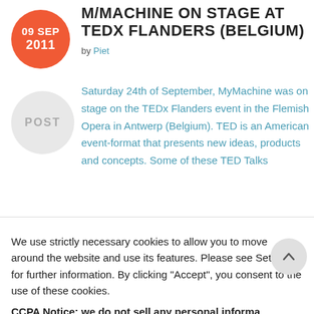M/MACHINE ON STAGE AT TEDx FLANDERS (BELGIUM)
by Piet
Saturday 24th of September, MyMachine was on stage on the TEDx Flanders event in the Flemish Opera in Antwerp (Belgium). TED is an American event-format that presents new ideas, products and concepts. Some of these TED Talks
We use strictly necessary cookies to allow you to move around the website and use its features. Please see Settings for further information. By clicking “Accept”, you consent to the use of these cookies.
CCPA Notice: we do not sell any personal informa
Settings
Accept